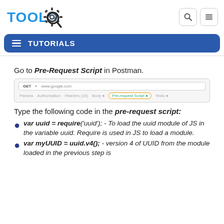[Figure (logo): ToolsQA logo with gear/magnifier icon and blue TOOLS text]
TUTORIALS
Go to Pre-Request Script in Postman.
[Figure (screenshot): Screenshot of Postman interface showing GET request to www.google.com with tab bar highlighting Pre-request Script tab]
Type the following code in the pre-request script:
var uuid = require('uuid'); - To load the uuid module of JS in the variable uuid. Require is used in JS to load a module.
var myUUID = uuid.v4(); - version 4 of UUID from the module loaded in the previous step is